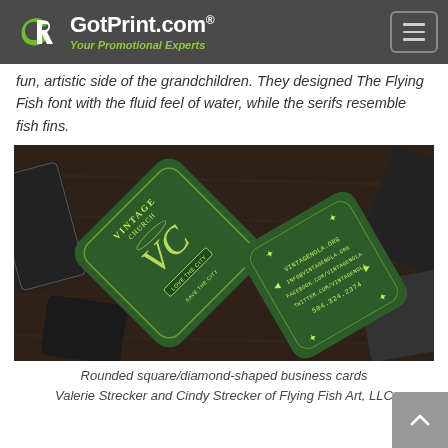GotPrint.com® — Your Promotional Experts
fun, artistic side of the grandchildren. They designed The Flying Fish font with the fluid feel of water, while the serifs resemble fish fins.
[Figure (photo): Two rounded square/diamond-shaped green business cards for Vintage Church (vintagenola.org) displayed on a wooden surface, rotated at angles, showing decorative typography and contact information.]
Rounded square/diamond-shaped business cards
Valerie Strecker and Cindy Strecker of Flying Fish Art, LLC